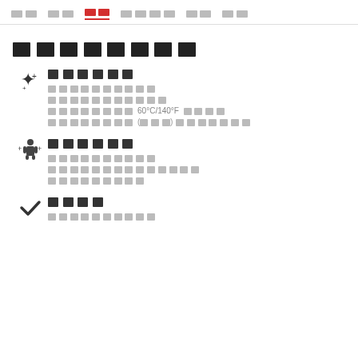□□  □□  □□  □□□□  □□  □□
□□□□□□□□
□□□□□□
□□□□□□□□□□
□□□□□□□□□□□
□□□□□□□□ 60°C/140°F □□□□
□□□□□□□□ (□□□)□□□□□□□□□□
□□□□□□
□□□□□□□□□□
□□□□□□□□□□□□□□
□□□□□□□□□
□□□□
□□□□□□□□□□